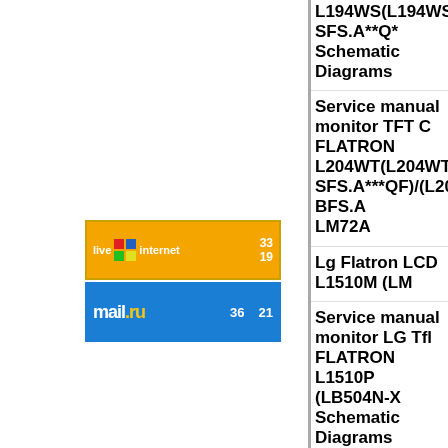[Figure (logo): LiveInternet counter badge with orange border, showing numbers 33 and 19]
[Figure (logo): Mail.ru counter badge with blue background, showing numbers 36 and 21]
L194WS(L194WS-SFS.A**Q* Schematic Diagrams
Service manual monitor TFT FLATRON L204WT(L204WT-SFS.A***QF)/(L204WT-BFS.A LM72A
Lg Flatron LCD L1510M (LM
Service manual monitor LG TF FLATRON L1510P (LB504N-X Schematic Diagrams
Service manual monitor LG L AG**R, AL**R) chassis CL-42
Service Manual monitor Lg Fla (LB500K-VL) MODEL: L151 32, description, adjustment, tr PARTS LIST, Schematic diagr
Lg Flatron LCD monitors L15